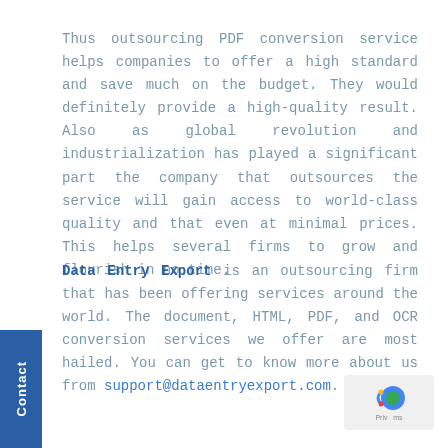Thus outsourcing PDF conversion service helps companies to offer a high standard and save much on the budget. They would definitely provide a high-quality result. Also as global revolution and industrialization has played a significant part the company that outsources the service will gain access to world-class quality and that even at minimal prices. This helps several firms to grow and flourish in no time.
Data Entry Export is an outsourcing firm that has been offering services around the world. The document, HTML, PDF, and OCR conversion services we offer are most hailed. You can get to know more about us from support@dataentryexport.com.